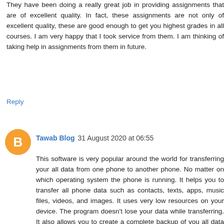They have been doing a really great job in providing assignments that are of excellent quality. In fact, these assignments are not only of excellent quality, these are good enough to get you highest grades in all courses. I am very happy that I took service from them. I am thinking of taking help in assignments from them in future.
Reply
Tawab Blog  31 August 2020 at 06:55
This software is very popular around the world for transferring your all data from one phone to another phone. No matter on which operating system the phone is running. It helps you to transfer all phone data such as contacts, texts, apps, music files, videos, and images. It uses very low resources on your device. The program doesn't lose your data while transferring. It also allows you to create a complete backup of you all data even app backup. You can restore that data on any other device like Android, iOS, and Symbian.wondershare mobiletrans crack + serial key download